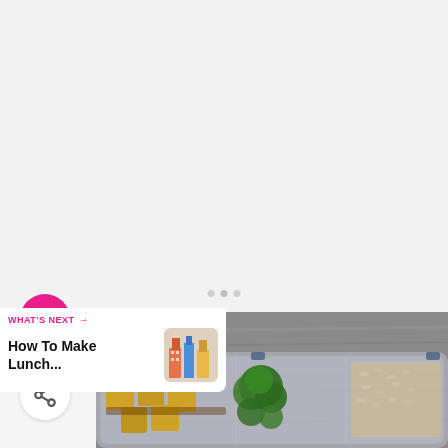[Figure (other): Light gray/white blank area, top portion of a mobile app screen with three dot navigation indicator]
[Figure (photo): Meal prep container photographed from above on a rustic wooden background, containing cubed glazed tofu, broccoli florets, and brown rice]
30
WHAT'S NEXT → How To Make Lunch...